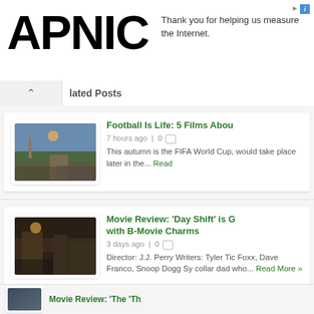[Figure (logo): APNIC logo in large bold black text]
Thank you for helping us measure the Internet.
lated Posts
[Figure (photo): Football scene - person kicking a ball on a field with crowd watching]
Football Is Life: 5 Films Abou
7 hours ago | 0
This autumn is the FIFA World Cup, would take place later in the... Read
[Figure (photo): Day Shift movie scene - two people in a bar/restaurant setting with dim lighting]
Movie Review: 'Day Shift' is G with B-Movie Charms
3 days ago | 0
Director: J.J. Perry Writers: Tyler Tic Foxx, Dave Franco, Snoop Dogg Sy collar dad who... Read More »
[Figure (photo): Partial view of a third movie review image]